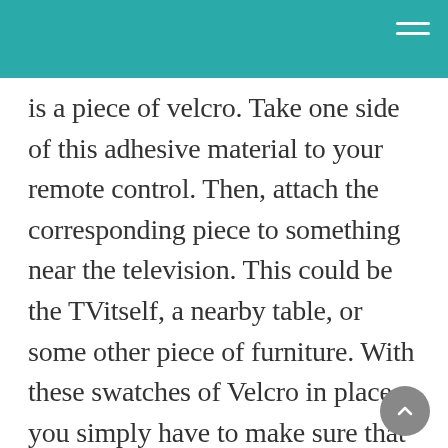is a piece of velcro. Take one side of this adhesive material to your remote control. Then, attach the corresponding piece to something near the television. This could be the TVitself, a nearby table, or some other piece of furniture. With these swatches of Velcro in place, you simply have to make sure that you put your remote down in the designated place and you will never have to order replacement remote controls again.
But while this idea can probably work for some people, it will have one notable drawback for most: you have to make sure you